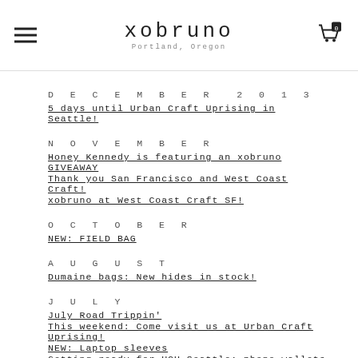xobruno — Portland, Oregon
DECEMBER 2013
5 days until Urban Craft Uprising in Seattle!
NOVEMBER
Honey Kennedy is featuring an xobruno GIVEAWAY
Thank you San Francisco and West Coast Craft!
xobruno at West Coast Craft SF!
OCTOBER
NEW: FIELD BAG
AUGUST
Dumaine bags: New hides in stock!
JULY
July Road Trippin'
This weekend: Come visit us at Urban Craft Uprising!
NEW: Laptop sleeves
Getting ready for UCU Seattle: phone wallets
JUNE
BBQ's, Bike Rides & A June Sale!